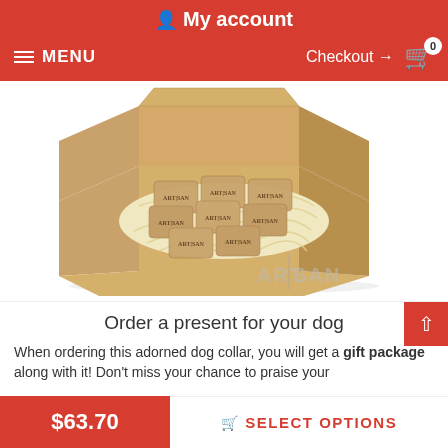My account
MENU  Checkout → 0
[Figure (photo): An open cardboard gift box filled with shredded paper straw and multiple wrapped items stamped with ARTISAN logo text, with the ARTISAN brand logo visible in the lower right corner.]
Order a present for your dog
When ordering this adorned dog collar, you will get a gift package along with it! Don't miss your chance to praise your
$63.70
SELECT OPTIONS